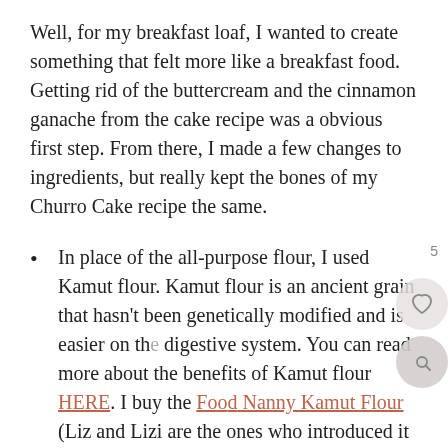Well, for my breakfast loaf, I wanted to create something that felt more like a breakfast food. Getting rid of the buttercream and the cinnamon ganache from the cake recipe was a obvious first step. From there, I made a few changes to ingredients, but really kept the bones of my Churro Cake recipe the same.
In place of the all-purpose flour, I used Kamut flour. Kamut flour is an ancient grain that hasn't been genetically modified and is easier on the digestive system. You can read more about the benefits of Kamut flour HERE. I buy the Food Nanny Kamut Flour (Liz and Lizi are the ones who introduced it to me).